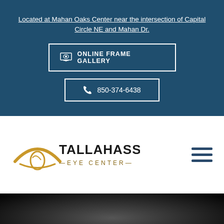Located at Mahan Oaks Center near the intersection of Capital Circle NE and Mahan Dr.
ONLINE FRAME GALLERY
850-374-6438
[Figure (logo): Tallahassee Eye Center logo with eye graphic and stylized text]
[Figure (photo): Dark background image, bottom portion of page]